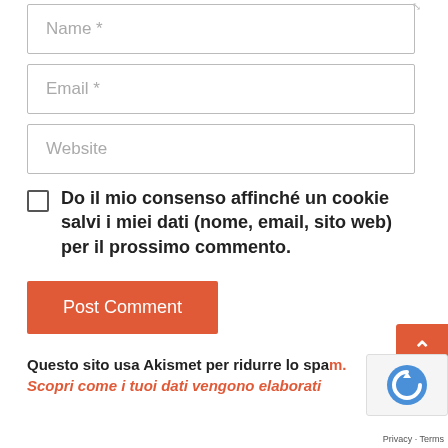Name *
Email *
Website
Do il mio consenso affinché un cookie salvi i miei dati (nome, email, sito web) per il prossimo commento.
Post Comment
Questo sito usa Akismet per ridurre lo spam. Scopri come i tuoi dati vengono elaborati
Privacy · Terms